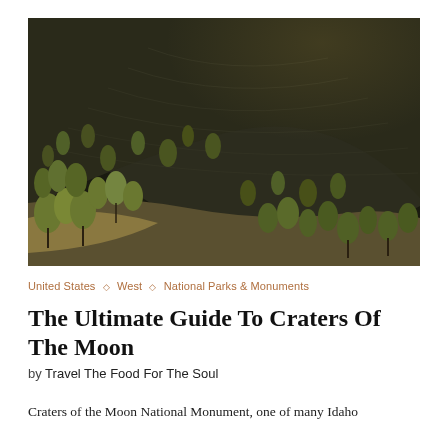[Figure (photo): Aerial or elevated view of a volcanic cinder cone with dark black lava slopes and scattered green conifer trees, characteristic of Craters of the Moon National Monument landscape.]
United States ◇ West ◇ National Parks & Monuments
The Ultimate Guide To Craters Of The Moon
by Travel The Food For The Soul
Craters of the Moon National Monument, one of many Idaho